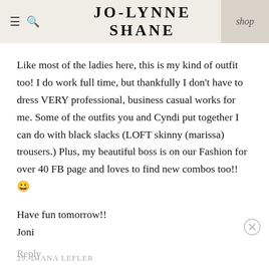JO-LYNNE SHANE | shop
Like most of the ladies here, this is my kind of outfit too! I do work full time, but thankfully I don't have to dress VERY professional, business casual works for me. Some of the outfits you and Cyndi put together I can do with black slacks (LOFT skinny (marissa) trousers.) Plus, my beautiful boss is on our Fashion for over 40 FB page and loves to find new combos too!! 😁
Have fun tomorrow!!
Joni
Reply
29. DIANA LEFLER